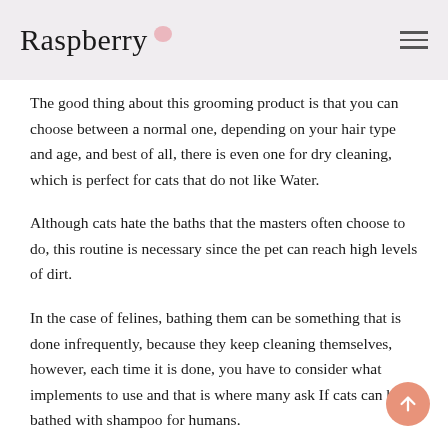Raspberry
The good thing about this grooming product is that you can choose between a normal one, depending on your hair type and age, and best of all, there is even one for dry cleaning, which is perfect for cats that do not like Water.
Although cats hate the baths that the masters often choose to do, this routine is necessary since the pet can reach high levels of dirt.
In the case of felines, bathing them can be something that is done infrequently, because they keep cleaning themselves, however, each time it is done, you have to consider what implements to use and that is where many ask If cats can be bathed with shampoo for humans.